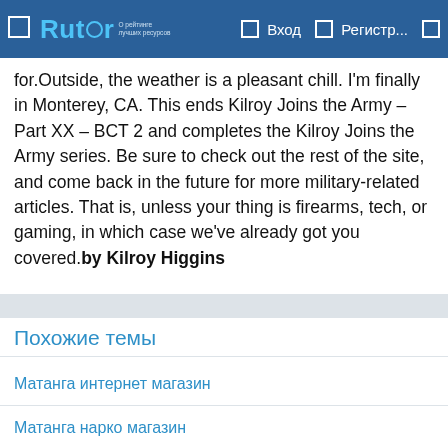Rutor — Вход — Регистр...
for.Outside, the weather is a pleasant chill. I'm finally in Monterey, CA. This ends Kilroy Joins the Army – Part XX – BCT 2 and completes the Kilroy Joins the Army series. Be sure to check out the rest of the site, and come back in the future for more military-related articles. That is, unless your thing is firearms, tech, or gaming, in which case we've already got you covered.by Kilroy Higgins
Похожие темы
Матанга интернет магазин
Матанга нарко магазин
Сайт матанга магазин официальный сайт
Матанга магазин зеркало
Матанга магазин